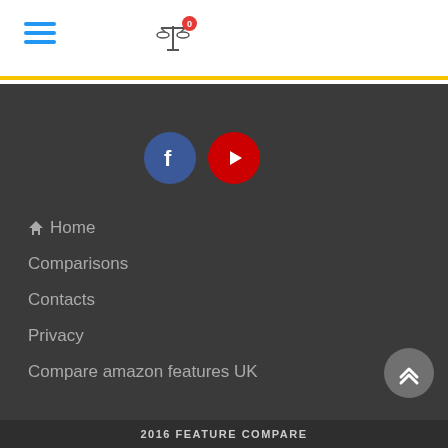Navigation header with hamburger menu, scale/compare icon with badge 0
[Figure (illustration): Dark navigation menu panel with Facebook and YouTube social icons, followed by nav links: Home, Comparisons, Contacts, Privacy, Compare amazon features UK]
Home
Comparisons
Contacts
Privacy
Compare amazon features UK
2016 FEATURE COMPARE